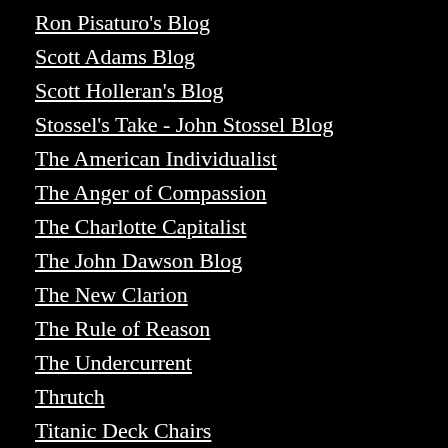[Figure (screenshot): Reblog (0) button and Twitter tweet button in top right corner]
Ron Pisaturo's Blog
Scott Adams Blog
Scott Holleran's Blog
Stossel's Take - John Stossel Blog
The American Individualist
The Anger of Compassion
The Charlotte Capitalist
The John Dawson Blog
The New Clarion
The Rule of Reason
The Undercurrent
Thrutch
Titanic Deck Chairs
Valzhalla
VamPus' Verden
Victor Davis Hanson's Private Papers
VOICES for REASON